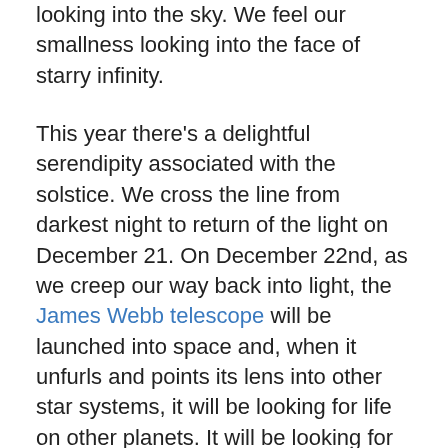looking into the sky. We feel our smallness looking into the face of starry infinity.
This year there's a delightful serendipity associated with the solstice. We cross the line from darkest night to return of the light on December 21. On December 22nd, as we creep our way back into light, the James Webb telescope will be launched into space and, when it unfurls and points its lens into other star systems, it will be looking for life on other planets. It will be looking for other beings staring into the night sky who might also be pondering their relationship with the universe. I look at you, you look at me.
We are candle people. We light them all the time for various reasons, marking auspicious occasions or simply to lift our spirits. We bought a menorah this fall. Kerri's clan is religiously complex and we wanted to celebrate